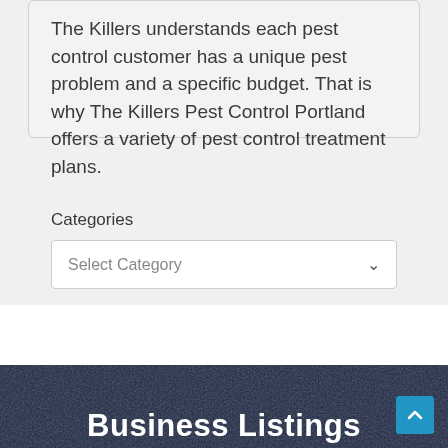The Killers understands each pest control customer has a unique pest problem and a specific budget. That is why The Killers Pest Control Portland offers a variety of pest control treatment plans.
Categories
[Figure (screenshot): A dropdown select box labeled 'Select Category' with a chevron arrow on the right]
Business Listings